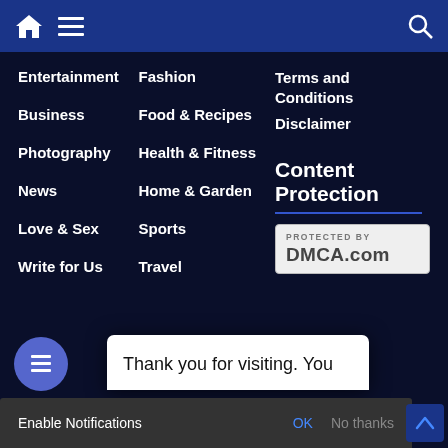[Figure (screenshot): Website navigation menu on dark blue background with home icon, hamburger menu, and search icon in top bar]
Entertainment
Business
Photography
News
Love & Sex
Write for Us
Fashion
Food & Recipes
Health & Fitness
Home & Garden
Sports
Travel
Terms and Conditions
Disclaimer
Content Protection
[Figure (logo): DMCA.com badge: PROTECTED BY DMCA.com]
Thank you for visiting. You
Enable Notifications  OK  No thanks